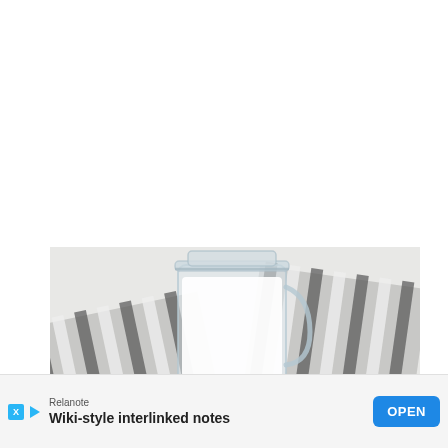[Figure (photo): A glass jar with a hinged lid containing white yogurt or cream, placed on a striped grey and white linen cloth on a marble surface, with a white ceramic spoon in the foreground.]
Relanote
Wiki-style interlinked notes
OPEN